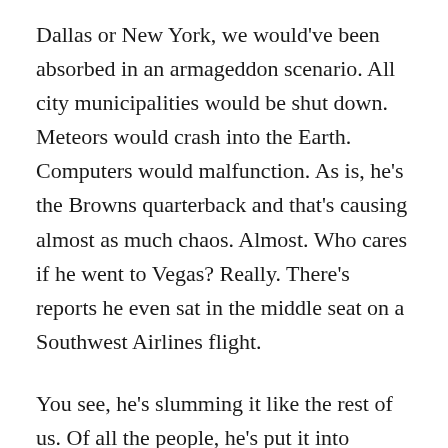Dallas or New York, we would've been absorbed in an armageddon scenario. All city municipalities would be shut down. Meteors would crash into the Earth. Computers would malfunction. As is, he's the Browns quarterback and that's causing almost as much chaos. Almost. Who cares if he went to Vegas? Really. There's reports he even sat in the middle seat on a Southwest Airlines flight.
You see, he's slumming it like the rest of us. Of all the people, he's put it into perspective by saying he hasn't done anything yet to even create a buzz. Right again, Johnny! If and when his off-field antics become a distraction, then and only then, should we